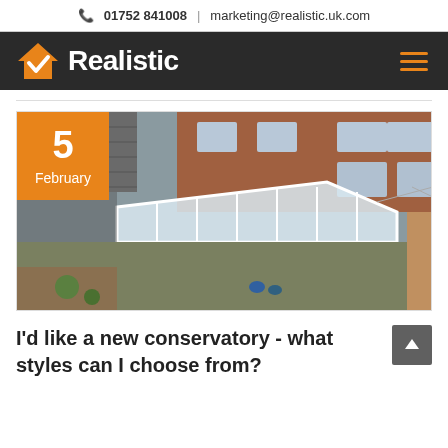📞 01752 841008 | marketing@realistic.uk.com
[Figure (logo): Realistic company logo with orange house icon and white bold text on dark background, with orange hamburger menu icon]
[Figure (photo): Aerial view of a white conservatory with glass roof attached to a brick house, with garden visible]
I'd like a new conservatory - what styles can I choose from?